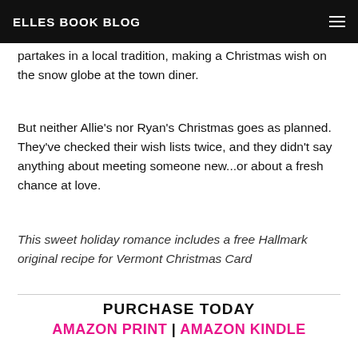ELLES BOOK BLOG
partakes in a local tradition, making a Christmas wish on the snow globe at the town diner.
But neither Allie's nor Ryan's Christmas goes as planned. They've checked their wish lists twice, and they didn't say anything about meeting someone new...or about a fresh chance at love.
This sweet holiday romance includes a free Hallmark original recipe for Vermont Christmas Card
PURCHASE TODAY
AMAZON PRINT | AMAZON KINDLE